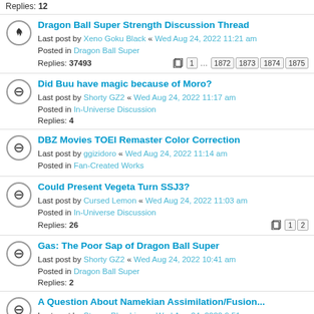Replies: 12
Dragon Ball Super Strength Discussion Thread — Last post by Xeno Goku Black « Wed Aug 24, 2022 11:21 am — Posted in Dragon Ball Super — Replies: 37493
Did Buu have magic because of Moro? — Last post by Shorty GZ2 « Wed Aug 24, 2022 11:17 am — Posted in In-Universe Discussion — Replies: 4
DBZ Movies TOEI Remaster Color Correction — Last post by ggizidoro « Wed Aug 24, 2022 11:14 am — Posted in Fan-Created Works
Could Present Vegeta Turn SSJ3? — Last post by Cursed Lemon « Wed Aug 24, 2022 11:03 am — Posted in In-Universe Discussion — Replies: 26
Gas: The Poor Sap of Dragon Ball Super — Last post by Shorty GZ2 « Wed Aug 24, 2022 10:41 am — Posted in Dragon Ball Super — Replies: 2
A Question About Namekian Assimilation/Fusion... — Last post by Steven Bloodriver « Wed Aug 24, 2022 9:51 am — Posted in In-Universe Discussion